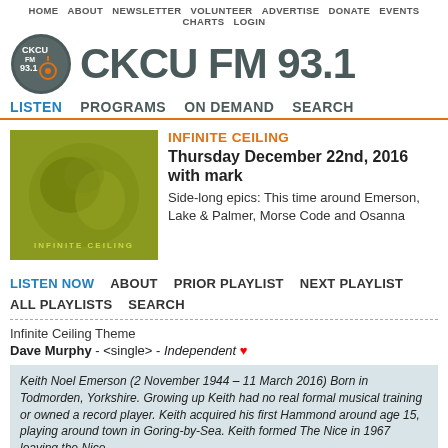HOME  ABOUT  NEWSLETTER  VOLUNTEER  ADVERTISE  DONATE  EVENTS  CHARTS  LOGIN
CKCU FM 93.1
LISTEN  PROGRAMS  ON DEMAND  SEARCH
[Figure (illustration): Infinite Ceiling show artwork – greenish-yellow illustrated album cover with text 'INFINITE CEILING']
INFINITE CEILING
Thursday December 22nd, 2016 with mark
Side-long epics: This time around Emerson, Lake & Palmer, Morse Code and Osanna
LISTEN NOW  ABOUT  PRIOR PLAYLIST  NEXT PLAYLIST  ALL PLAYLISTS  SEARCH
Infinite Ceiling Theme
Dave Murphy - <single> - Independent 🍁
Keith Noel Emerson (2 November 1944 – 11 March 2016) Born in Todmorden, Yorkshire. Growing up Keith had no real formal musical training or owned a record player. Keith acquired his first Hammond around age 15, playing around town in Goring-by-Sea. Keith formed The Nice in 1967 leaving the Nice